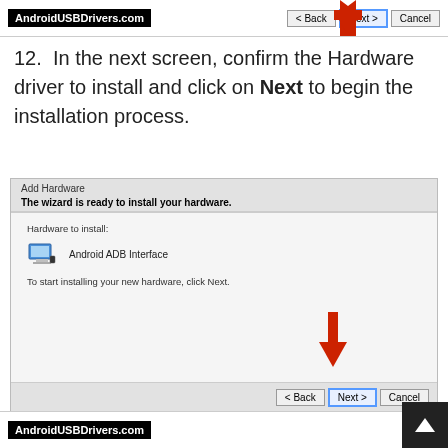AndroidUSBDrivers.com
12. In the next screen, confirm the Hardware driver to install and click on Next to begin the installation process.
[Figure (screenshot): Windows Add Hardware wizard dialog showing 'The wizard is ready to install your hardware' with Hardware to install: Android ADB Interface icon and text, and navigation buttons Back, Next, Cancel at bottom. Red arrows point to the Next button.]
AndroidUSBDrivers.com